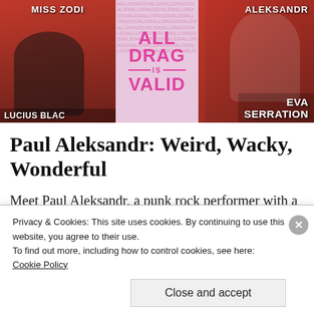[Figure (photo): Promotional image for a drag show featuring performers: MISS ZODI (left), center panel with 'ALL DRAG IS VALID' text in pink, LUCIUS BLAC (bottom left), ALEKSANDR (top right), EVA SERRATION (bottom right)]
Paul Aleksandr: Weird, Wacky, Wonderful
Meet Paul Aleksandr, a punk rock performer with a passion for all things weird, who we
Privacy & Cookies: This site uses cookies. By continuing to use this website, you agree to their use.
To find out more, including how to control cookies, see here:
Cookie Policy
Close and accept